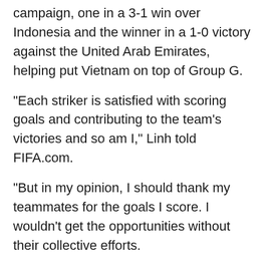campaign, one in a 3-1 win over Indonesia and the winner in a 1-0 victory against the United Arab Emirates, helping put Vietnam on top of Group G.
"Each striker is satisfied with scoring goals and contributing to the team's victories and so am I," Linh told FIFA.com.
"But in my opinion, I should thank my teammates for the goals I score. I wouldn't get the opportunities without their collective efforts.
"For me, it's a dream come true to represent my country in World Cup qualifying. If you are a footballer, it's the greatest honour to join the national team and play in World Cup qualifying. This campaign will be memorable for the rest of my playing career."
FIFA also touched on the dreams of the striker, who played for Vietnam at the U20 World Cup in the Republic of Korea in 2017.
"To be honest, I am not afraid of anyone I play against," he